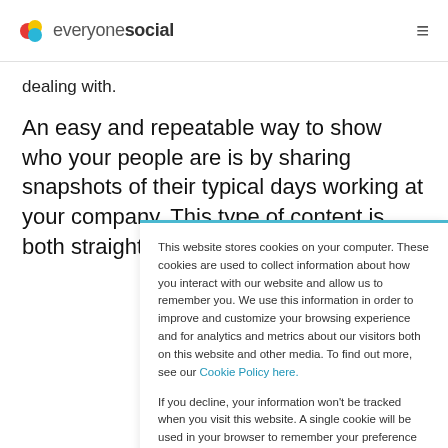everyonesocial
dealing with.
An easy and repeatable way to show who your people are is by sharing snapshots of their typical days working at your company. This type of content is both straightforward and
This website stores cookies on your computer. These cookies are used to collect information about how you interact with our website and allow us to remember you. We use this information in order to improve and customize your browsing experience and for analytics and metrics about our visitors both on this website and other media. To find out more, see our Cookie Policy here.
If you decline, your information won't be tracked when you visit this website. A single cookie will be used in your browser to remember your preference not to be tracked.